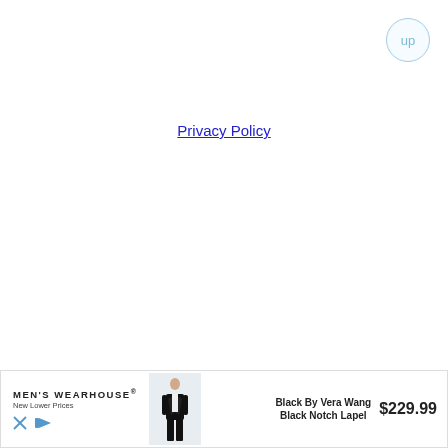up
Privacy Policy
[Figure (other): Advertisement banner for Men's Wearhouse showing a man in a black tuxedo with text 'Black By Vera Wang Black Notch Lapel $229.99']